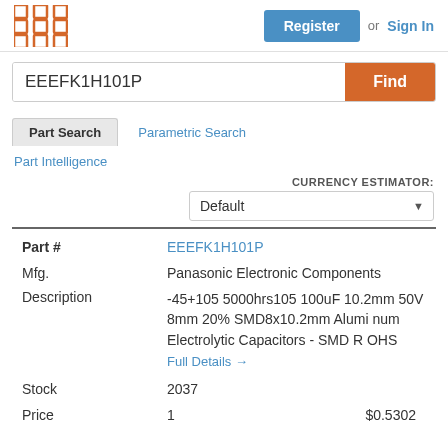[Figure (logo): Orange grid/matrix logo icon]
Register  or  Sign In
EEEFK1H101P  Find
Part Search  Parametric Search
Part Intelligence
CURRENCY ESTIMATOR: Default
| Field | Value |
| --- | --- |
| Part # | EEEFK1H101P |
| Mfg. | Panasonic Electronic Components |
| Description | -45+105 5000hrs105 100uF 10.2mm 50V 8mm 20% SMD8x10.2mm Aluminum Electrolytic Capacitors - SMD R OAHS
Full Details → |
| Stock | 2037 |
| Price | 1  $0.5302 |